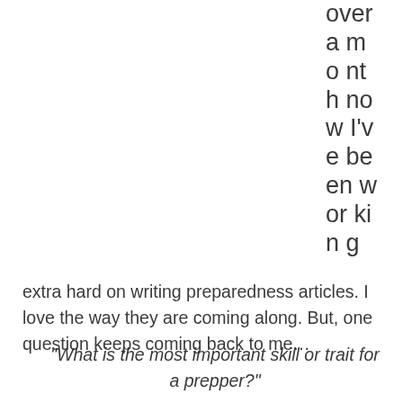over a month now I've been working
extra hard on writing preparedness articles. I love the way they are coming along. But, one question keeps coming back to me…
“What is the most important skill or trait for a prepper?”